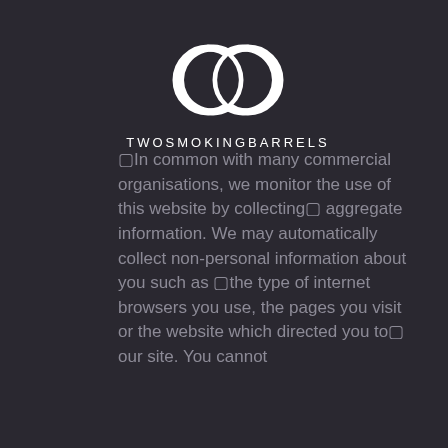[Figure (logo): Two overlapping circle outlines (white) forming a figure-eight or infinity-like logo mark for Two Smoking Barrels]
TWOSMOKINGBARRELS
▢In common with many commercial organisations, we monitor the use of this website by collecting▢ aggregate information. We may automatically collect non-personal information about you such as ▢the type of internet browsers you use, the pages you visit or the website which directed you to▢ our site. You cannot